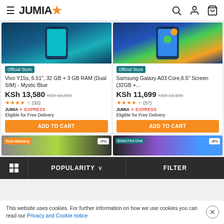JUMIA
[Figure (screenshot): Product listing page showing two phone products with images, prices, ratings, and add to cart buttons]
Official Store
Vivo Y15s, 6.51", 32 GB + 3 GB RAM (Dual SIM) - Mystic Blue
KSh 13,580  KSh 16,899
★★★★☆ (32)
JUMIA EXPRESS
Eligible for Free Delivery
ADD TO CART
Official Store
Samsung Galaxy A03 Core,6.5" Screen (32GB +...
KSh 11,699  KSh 13,399
★★★★☆ (57)
JUMIA EXPRESS
Eligible for Free Delivery
ADD TO CART
Free Delivery  -9%
Brand Fest Deal  -8%
POPULARITY  ∨
FILTER
This website uses cookies. For further information on how we use cookies you can read our Privacy and Cookie notice